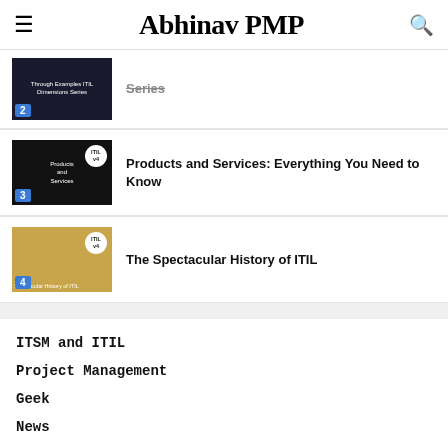Abhinav PMP
[Figure (screenshot): Thumbnail for article 2 - dark blue background]
Series
[Figure (screenshot): Thumbnail for article 3 - Products and Services dark background with ITIL v4 badge]
Products and Services: Everything You Need to Know
[Figure (screenshot): Thumbnail for article 4 - Spectacular History of ITIL golden background]
The Spectacular History of ITIL
ITSM and ITIL
Project Management
Geek
News
Waterfall
Jobs – Offices